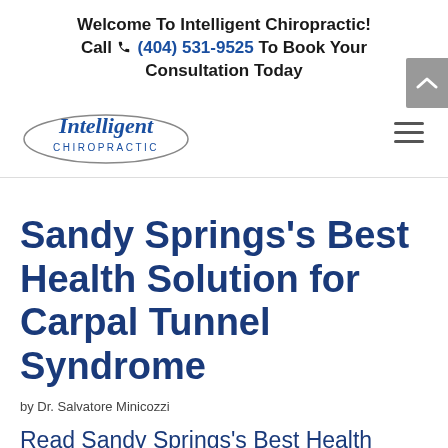Welcome To Intelligent Chiropractic! Call (404) 531-9525 To Book Your Consultation Today
[Figure (logo): Intelligent Chiropractic logo with oval ellipse and italic script text]
Sandy Springs’s Best Health Solution for Carpal Tunnel Syndrome
by Dr. Salvatore Minicozzi
Read Sandy Springs’s Best Health Solution for Carpal Tunnel